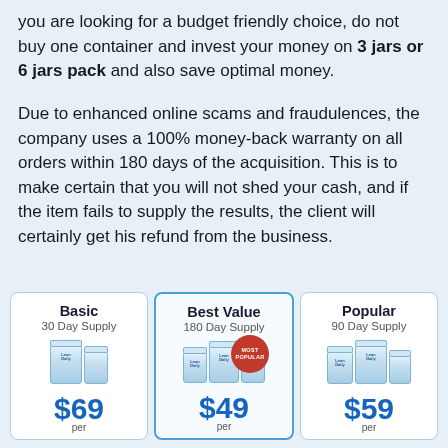you are looking for a budget friendly choice, do not buy one container and invest your money on 3 jars or 6 jars pack and also save optimal money.
Due to enhanced online scams and fraudulences, the company uses a 100% money-back warranty on all orders within 180 days of the acquisition. This is to make certain that you will not shed your cash, and if the item fails to supply the results, the client will certainly get his refund from the business.
[Figure (infographic): Pricing cards showing three options: Basic (30 Day Supply, $69 per), Best Value (180 Day Supply, $49 per, Most Popular badge), Popular (90 Day Supply, $59 per), each with product jar images]